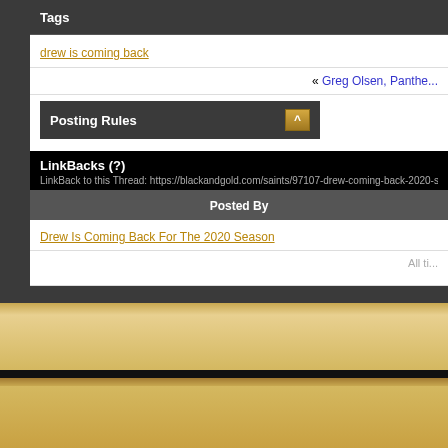Tags
drew is coming back
« Greg Olsen, Panthe...
Posting Rules
LinkBacks (?)
LinkBack to this Thread: https://blackandgold.com/saints/97107-drew-coming-back-2020-season
Posted By
Drew Is Coming Back For The 2020 Season
All ti...
Copyright 1997 - 2020 - BlackandGold.com